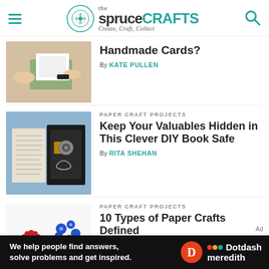the spruce CRAFTS — Create, Craft, Collect
[Figure (screenshot): Article thumbnail: hands working on handmade cards]
Handmade Cards?
By KATE PULLEN
PAPER CRAFT PROJECTS
[Figure (photo): Open book with a secret compartment containing small items — DIY Book Safe]
Keep Your Valuables Hidden in This Clever DIY Book Safe
By RITA SHEHAN
PAPER CRAFT PROJECTS
[Figure (photo): Colorful quilled paper flowers — red, blue, green on white background]
10 Types of Paper Crafts Defined
By RITA SHEHAN
[Figure (infographic): Dotdash Meredith advertisement banner: We help people find answers, solve problems and get inspired.]